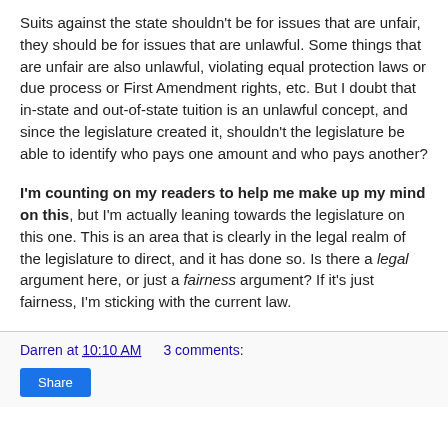Suits against the state shouldn't be for issues that are unfair, they should be for issues that are unlawful. Some things that are unfair are also unlawful, violating equal protection laws or due process or First Amendment rights, etc. But I doubt that in-state and out-of-state tuition is an unlawful concept, and since the legislature created it, shouldn't the legislature be able to identify who pays one amount and who pays another?
I'm counting on my readers to help me make up my mind on this, but I'm actually leaning towards the legislature on this one. This is an area that is clearly in the legal realm of the legislature to direct, and it has done so. Is there a legal argument here, or just a fairness argument? If it's just fairness, I'm sticking with the current law.
Darren at 10:10 AM    3 comments:
Share